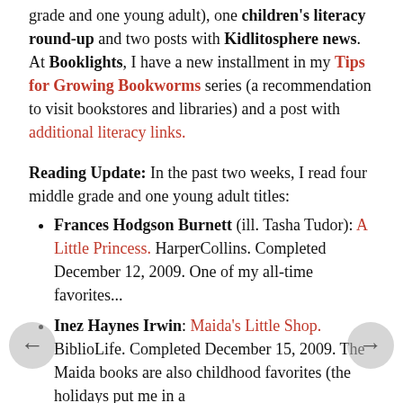grade and one young adult), one children's literacy round-up and two posts with Kidlitosphere news. At Booklights, I have a new installment in my Tips for Growing Bookworms series (a recommendation to visit bookstores and libraries) and a post with additional literacy links.
Reading Update: In the past two weeks, I read four middle grade and one young adult titles:
Frances Hodgson Burnett (ill. Tasha Tudor): A Little Princess. HarperCollins. Completed December 12, 2009. One of my all-time favorites...
Inez Haynes Irwin: Maida's Little Shop. BiblioLife. Completed December 15, 2009. The Maida books are also childhood favorites (the holidays put me in a